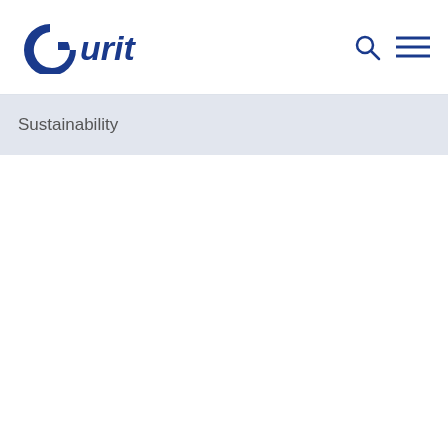[Figure (logo): Gurit company logo in dark blue, with a stylized 'G' arc followed by 'urit' in bold italic text]
[Figure (other): Navigation icons: magnifying glass (search) and hamburger menu (three horizontal lines), both in dark blue]
Sustainability